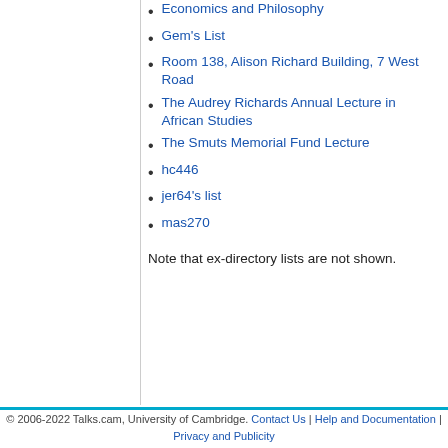Economics and Philosophy
Gem's List
Room 138, Alison Richard Building, 7 West Road
The Audrey Richards Annual Lecture in African Studies
The Smuts Memorial Fund Lecture
hc446
jer64's list
mas270
Note that ex-directory lists are not shown.
© 2006-2022 Talks.cam, University of Cambridge. Contact Us | Help and Documentation | Privacy and Publicity